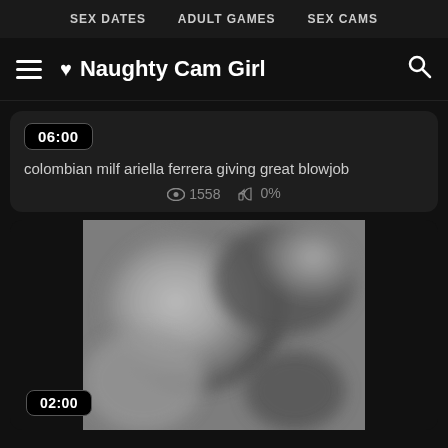SEX DATES   ADULT GAMES   SEX CAMS
♥ Naughty Cam Girl
06:00
colombian milf ariella ferrera giving great blowjob
1558  0%
[Figure (photo): Blurry grayscale video thumbnail with duration badge 02:00]
02:00